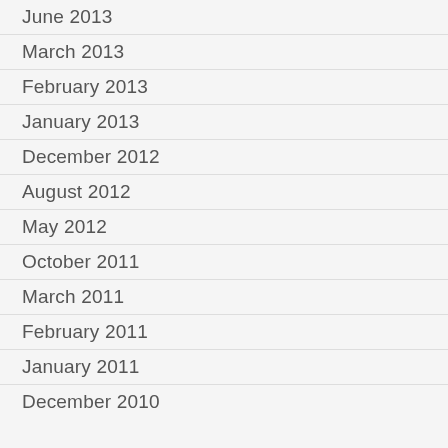June 2013
March 2013
February 2013
January 2013
December 2012
August 2012
May 2012
October 2011
March 2011
February 2011
January 2011
December 2010